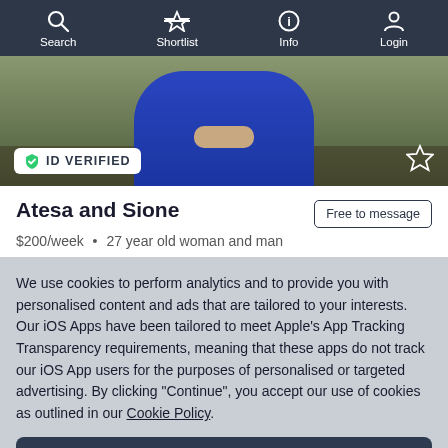Search  Shortlist  Info  Login
[Figure (photo): Person wearing blue clothing sitting outdoors on a bench, with hands resting on knees. ID VERIFIED badge in lower left, star icon in lower right.]
Atesa and Sione
Free to message
$200/week  •  27 year old woman and man
We use cookies to perform analytics and to provide you with personalised content and ads that are tailored to your interests. Our iOS Apps have been tailored to meet Apple's App Tracking Transparency requirements, meaning that these apps do not track our iOS App users for the purposes of personalised or targeted advertising. By clicking "Continue", you accept our use of cookies as outlined in our Cookie Policy.
Continue